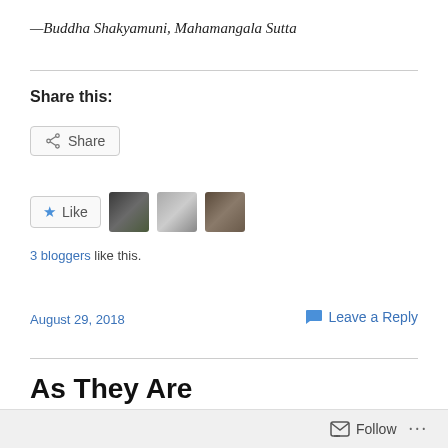—Buddha Shakyamuni, Mahamangala Sutta
Share this:
Share (button)
[Figure (other): Like button with star icon and three blogger avatars]
3 bloggers like this.
August 29, 2018
Leave a Reply
As They Are
[Figure (photo): Partial image showing what appears to be a candle or lantern with blurred flowers in teal/green tones]
Follow ...